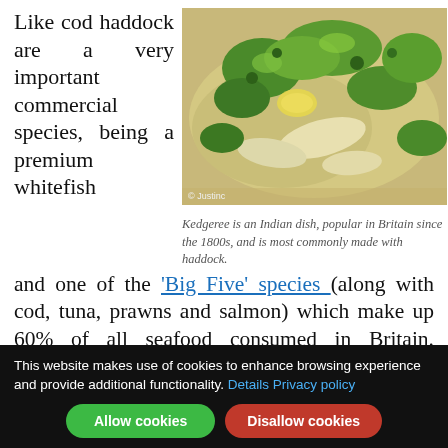Like cod haddock are a very important commercial species, being a premium whitefish
[Figure (photo): A plate of Kedgeree – an Indian dish with rice, fish, and herbs, garnished with fresh coriander. Photo credit: © Justinc]
Kedgeree is an Indian dish, popular in Britain since the 1800s, and is most commonly made with haddock.
and one of the 'Big Five' species (along with cod, tuna, prawns and salmon) which make up 60% of all seafood consumed in Britain. Haddock are sold as whole fish on wet fish counters, and also as frozen or chilled fillets
haddock is a wh...
This website makes use of cookies to enhance browsing experience and provide additional functionality. Details Privacy policy